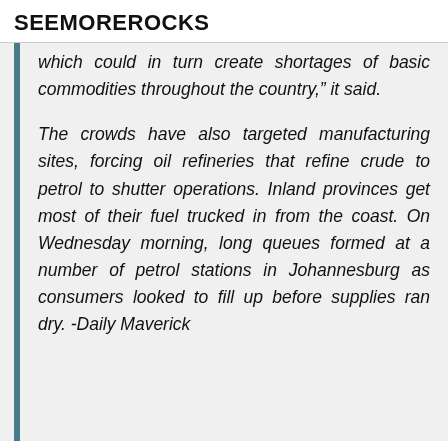SEEMOREROCKS
which could in turn create shortages of basic commodities throughout the country,” it said.
The crowds have also targeted manufacturing sites, forcing oil refineries that refine crude to petrol to shutter operations. Inland provinces get most of their fuel trucked in from the coast. On Wednesday morning, long queues formed at a number of petrol stations in Johannesburg as consumers looked to fill up before supplies ran dry. -Daily Maverick